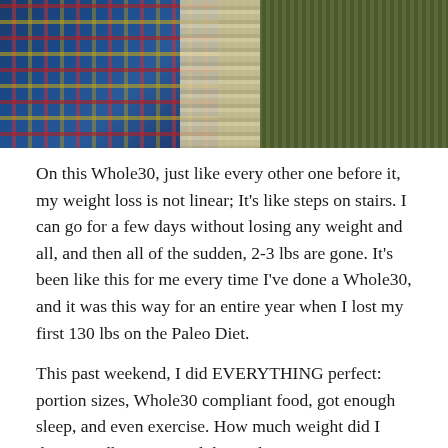[Figure (photo): Top portion of a photo showing a person wearing a tartan/plaid garment on the left and an olive green knit sweater on the right, with fringe or tassels visible in the middle area.]
On this Whole30, just like every other one before it, my weight loss is not linear; It's like steps on stairs. I can go for a few days without losing any weight and all, and then all of the sudden, 2-3 lbs are gone. It's been like this for me every time I've done a Whole30, and it was this way for an entire year when I lost my first 130 lbs on the Paleo Diet.
This past weekend, I did EVERYTHING perfect: portion sizes, Whole30 compliant food, got enough sleep, and even exercise. How much weight did I drop? 0.0 lbs. BUT, and this is the most important part: I had to pull my belt in an inch. A FULL INCH. I am certain that there are scientists or physicians who can tell me the science behind this, but it seems to me that I'm either losing size or weight. My guess is that you don't actually lose